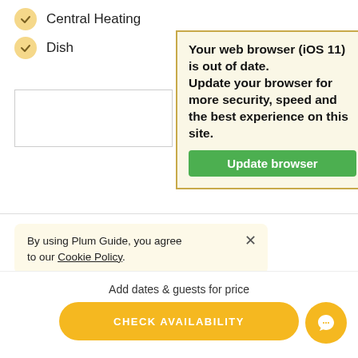Central Heating
Dish...
[Figure (screenshot): Browser warning popup with yellow background and green Update browser button. Text: 'Your web browser (iOS 11) is out of date. Update your browser for more security, speed and the best experience on this site.']
By using Plum Guide, you agree to our Cookie Policy.
The striking features and hidden details that caught
Add dates & guests for price
CHECK AVAILABILITY